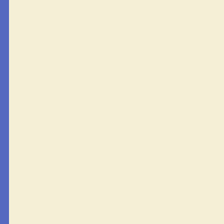[Figure (photo): Left panel: cream/beige textured background with blue vertical borders on left and right sides]
(Lot of 5) Lenovo ThinkPad X1 Carbon G4 i5 8Gb (For Parts)
Lot of 4 Mixed Laptops i3-i7 Ram *For Parts $219.99
2x Dell Chromebook 11.6" Celeron 2Gb Ram 16... $31.50
Lot of (4) Samsung ChromeBook Notebook Bla... Ram 16Gb S...